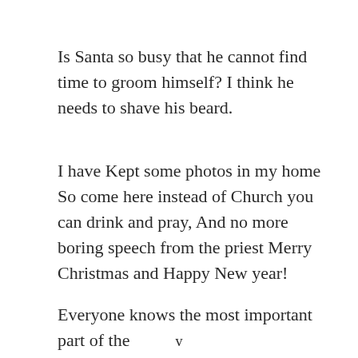Is Santa so busy that he cannot find time to groom himself? I think he needs to shave his beard.
I have Kept some photos in my home So come here instead of Church you can drink and pray, And no more boring speech from the priest Merry Christmas and Happy New year!
Everyone knows the most important part of the Christmas celebration is...
v